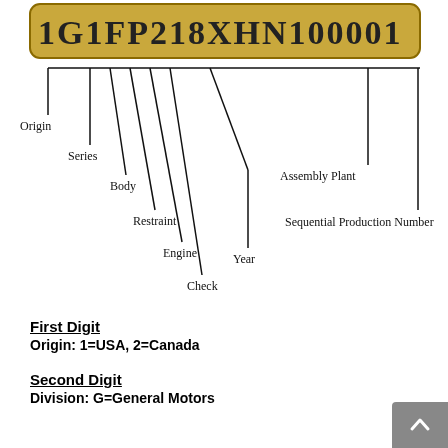[Figure (schematic): VIN number diagram showing 1G1FP218XHN100001 in a gold/tan rounded rectangle, with lines dropping down to labeled components: Origin, Series, Body, Restraint, Engine, Check, Year, Assembly Plant, Sequential Production Number]
First Digit
Origin: 1=USA, 2=Canada
Second Digit
Division: G=General Motors